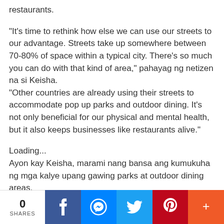restaurants.
"It's time to rethink how else we can use our streets to our advantage. Streets take up somewhere between 70-80% of space within a typical city. There's so much you can do with that kind of area," pahayag ng netizen na si Keisha.
"Other countries are already using their streets to accommodate pop up parks and outdoor dining. It's not only beneficial for our physical and mental health, but it also keeps businesses like restaurants alive."
Loading...
Ayon kay Keisha, marami nang bansa ang kumukuha ng mga kalye upang gawing parks at outdoor dining areas.
Aniya, nakakabuti raw ito para sa physical at mental health, bukod sa pagpapasigla nito sa ekonomiya.
"Hopefully soon, our cities can start to see the benefits of actually